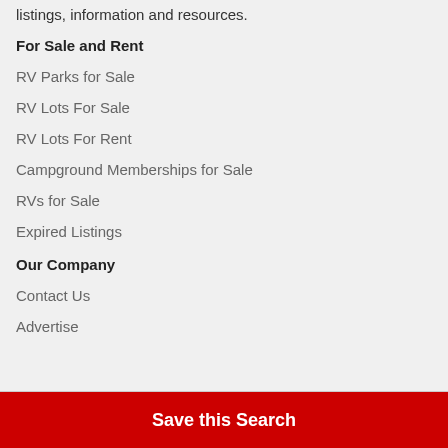listings, information and resources.
For Sale and Rent
RV Parks for Sale
RV Lots For Sale
RV Lots For Rent
Campground Memberships for Sale
RVs for Sale
Expired Listings
Our Company
Contact Us
Advertise
Save this Search